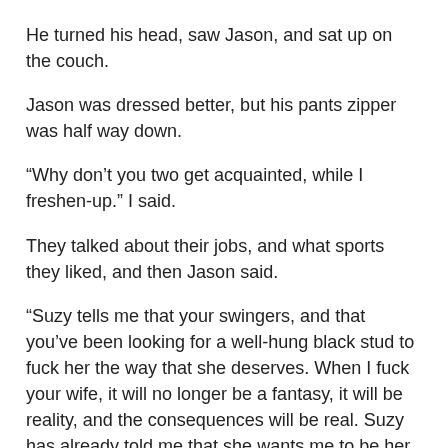He turned his head, saw Jason, and sat up on the couch.
Jason was dressed better, but his pants zipper was half way down.
“Why don’t you two get acquainted, while I freshen-up.” I said.
They talked about their jobs, and what sports they liked, and then Jason said.
“Suzy tells me that your swingers, and that you’ve been looking for a well-hung black stud to fuck her the way that she deserves. When I fuck your wife, it will no longer be a fantasy, it will be reality, and the consequences will be real. Suzy has already told me that she wants me to be her first black lover, but you have to give the final ok. After that there’s no turning back.